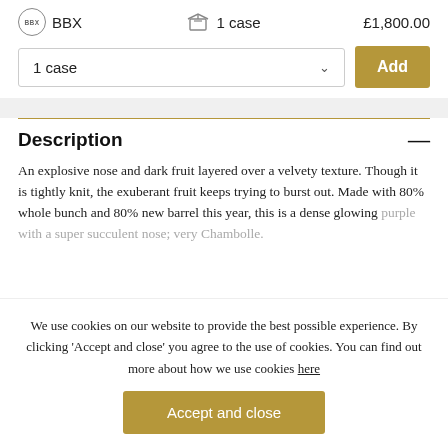BBX   1 case   £1,800.00
1 case   Add
Description
An explosive nose and dark fruit layered over a velvety texture. Though it is tightly knit, the exuberant fruit keeps trying to burst out. Made with 80% whole bunch and 80% new barrel this year, this is a dense glowing purple with a super succulent nose; very Chambolle.
We use cookies on our website to provide the best possible experience. By clicking 'Accept and close' you agree to the use of cookies. You can find out more about how we use cookies here
Accept and close